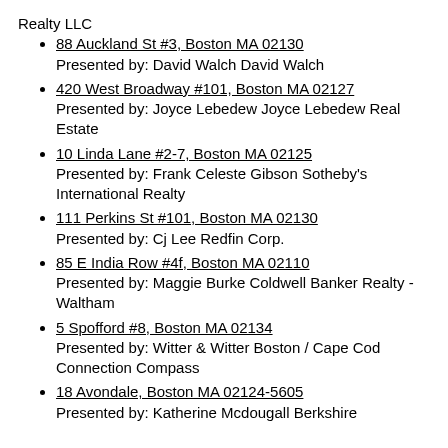Realty LLC
88 Auckland St #3, Boston MA 02130
Presented by: David Walch David Walch
420 West Broadway #101, Boston MA 02127
Presented by: Joyce Lebedew Joyce Lebedew Real Estate
10 Linda Lane #2-7, Boston MA 02125
Presented by: Frank Celeste Gibson Sotheby's International Realty
111 Perkins St #101, Boston MA 02130
Presented by: Cj Lee Redfin Corp.
85 E India Row #4f, Boston MA 02110
Presented by: Maggie Burke Coldwell Banker Realty - Waltham
5 Spofford #8, Boston MA 02134
Presented by: Witter & Witter Boston / Cape Cod Connection Compass
18 Avondale, Boston MA 02124-5605
Presented by: Katherine Mcdougall Berkshire